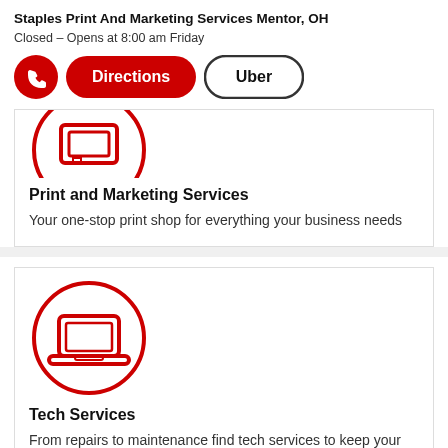Staples Print And Marketing Services Mentor, OH
Closed – Opens at 8:00 am Friday
[Figure (screenshot): UI buttons row: red phone icon button, red 'Directions' pill button, white 'Uber' pill button with black border]
[Figure (illustration): Partially visible red circle icon with a print/document icon inside, top of card cropped]
Print and Marketing Services
Your one-stop print shop for everything your business needs
[Figure (illustration): Red circle icon with a laptop/computer icon inside]
Tech Services
From repairs to maintenance find tech services to keep your PC, laptop or mobile device in top shape.